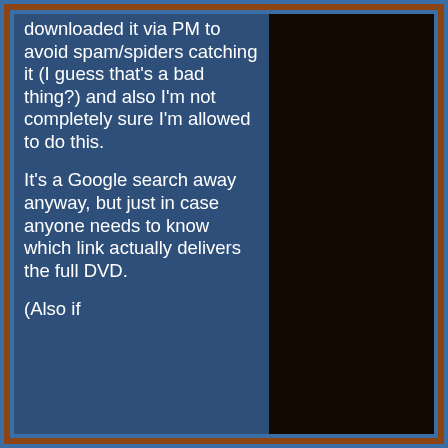downloaded it via PM to avoid spam/spiders catching it (I guess that's a bad thing?) and also I'm not completely sure I'm allowed to do this.
It's a Google search away anyway, but just in case anyone needs to know which link actually delivers the full DVD.
(Also if